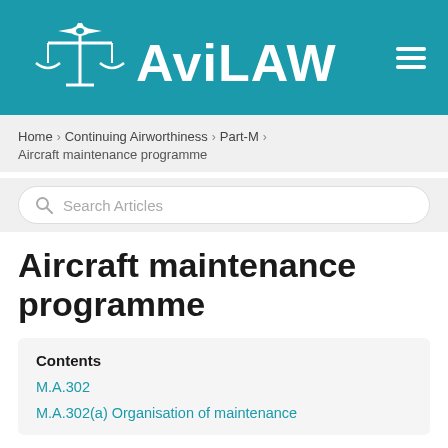[Figure (logo): AviLAW logo with scales of justice and airplane icon on teal background, with hamburger menu icon on right]
Home > Continuing Airworthiness > Part-M > Aircraft maintenance programme
Search Articles
Aircraft maintenance programme
Contents
M.A.302
M.A.302(a) Organisation of maintenance